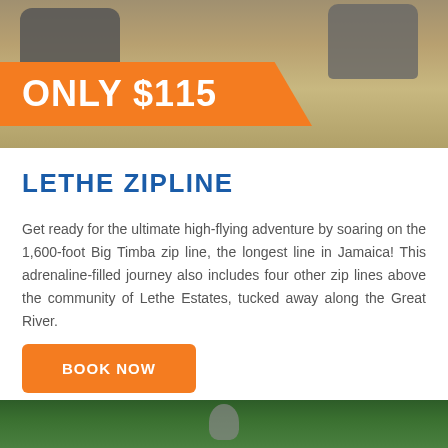[Figure (photo): ATV vehicles driving on a dirt/sandy path, with an orange price banner overlay showing ONLY $115]
LETHE ZIPLINE
Get ready for the ultimate high-flying adventure by soaring on the 1,600-foot Big Timba zip line, the longest line in Jamaica! This adrenaline-filled journey also includes four other zip lines above the community of Lethe Estates, tucked away along the Great River.
BOOK NOW
[Figure (photo): Person on a zipline surrounded by lush green tropical foliage]